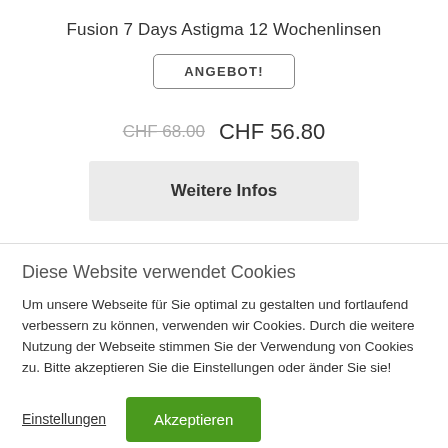Fusion 7 Days Astigma 12 Wochenlinsen
ANGEBOT!
CHF 68.00  CHF 56.80
Weitere Infos
Diese Website verwendet Cookies
Um unsere Webseite für Sie optimal zu gestalten und fortlaufend verbessern zu können, verwenden wir Cookies. Durch die weitere Nutzung der Webseite stimmen Sie der Verwendung von Cookies zu. Bitte akzeptieren Sie die Einstellungen oder änder Sie sie!
Einstellungen
Akzeptieren